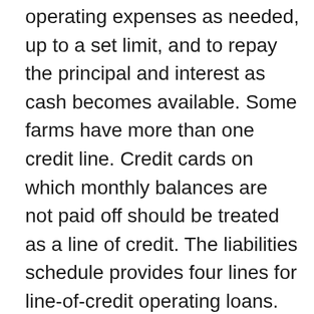operating expenses as needed, up to a set limit, and to repay the principal and interest as cash becomes available. Some farms have more than one credit line. Credit cards on which monthly balances are not paid off should be treated as a line of credit. The liabilities schedule provides four lines for line-of-credit operating loans. The entire principal balance of the loan and the accrued interest are considered current liabilities as they are due and payable within any twelve-month period.
The column for description will usually contain only the creditor's name as the use of the funds is not designated for a single purpose. The interest